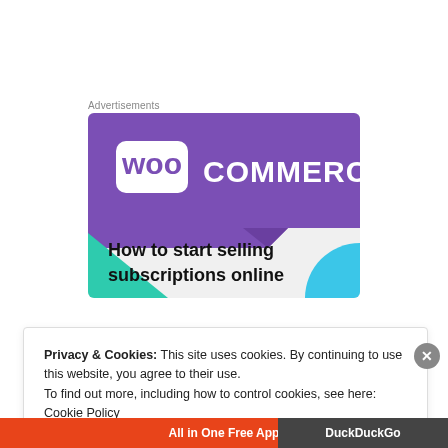Advertisements
[Figure (illustration): WooCommerce advertisement banner showing the WooCommerce logo on a purple background with teal and blue geometric shapes, and text reading 'How to start selling subscriptions online']
Privacy & Cookies: This site uses cookies. By continuing to use this website, you agree to their use.
To find out more, including how to control cookies, see here: Cookie Policy
Close and accept